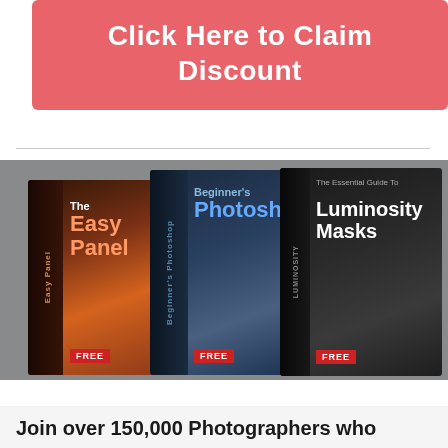Click Here to Claim Discount
[Figure (photo): Three software product box images: 'The Easy Panel', 'Beginner's Photoshop', and 'The Essential Guide to Luminosity Masks', all shown as 3D boxed products]
We use cookies to ensure that we give you the best experience on our website. If you continue to use this site we will assume that you are happy with it.
Ok
Join over 150,000 Photographers who